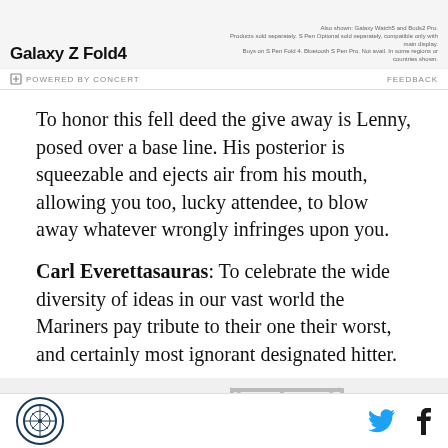[Figure (photo): Advertisement banner for Samsung Galaxy Z Fold4. Shows product name 'Galaxy Z Fold4' with fine print text about products sold separately. Footer shows 'POWERED BY CONCERT' and 'FEEDBACK'.]
To honor this fell deed the give away is Lenny, posed over a base line. His posterior is squeezable and ejects air from his mouth, allowing you too, lucky attendee, to blow away whatever wrongly infringes upon you.
Carl Everettasauras: To celebrate the wide diversity of ideas in our vast world the Mariners pay tribute to their one their worst, and certainly most ignorant designated hitter.
[Figure (photo): Partial image strip at bottom showing illustrations or photos related to baseball/Mariners content.]
Site logo on left, Twitter and Facebook share icons on right.